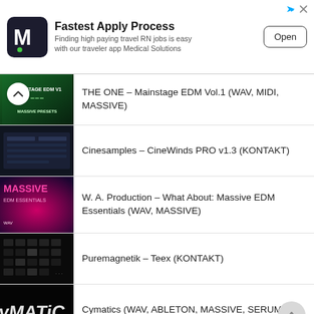[Figure (infographic): Ad banner: M logo, Fastest Apply Process, Finding high paying travel RN jobs is easy with our traveler app Medical Solutions, Open button]
THE ONE – Mainstage EDM Vol.1 (WAV, MIDI, MASSIVE)
Cinesamples – CineWinds PRO v1.3 (KONTAKT)
W. A. Production – What About: Massive EDM Essentials (WAV, MASSIVE)
Puremagnetik – Teex (KONTAKT)
Cymatics (WAV, ABLETON, MASSIVE, SERUM)